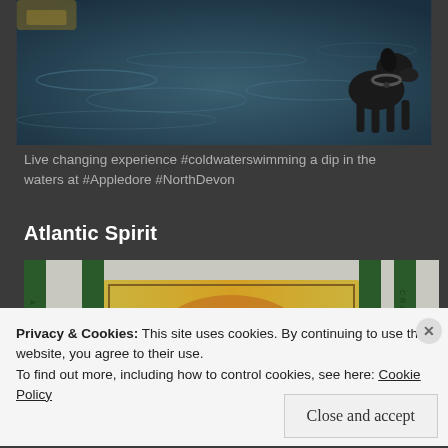[Figure (photo): A black dog standing at the edge of water, looking out at rippling dark blue ocean water.]
Live changing experience #coldwaterswimming a dip in the waters at #Appledore #NorthDevon
Atlantic Spirit
[Figure (photo): A colorful painted sign or artwork with graffiti-style lettering, flanked by green fence posts, against a white wall background.]
Privacy & Cookies: This site uses cookies. By continuing to use this website, you agree to their use.
To find out more, including how to control cookies, see here: Cookie Policy